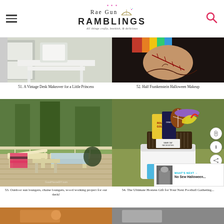[Figure (screenshot): Rae Gun Ramblings blog website header with hamburger menu, logo, and search icon]
[Figure (photo): White vintage desk - item 51, A Vintage Desk Makeover for a Little Princess]
51. A Vintage Desk Makeover for a Little Princess
[Figure (photo): Half Frankenstein Halloween makeup on person's neck - item 52]
52. Half Frankenstein Halloween Makeup
[Figure (photo): Outdoor sun loungers / chaise loungers made of wood on a deck - item 53]
53. Outdoor sun loungers, chaise loungers, wood working project for our deck!
[Figure (photo): Game day necessities gift basket with snacks and Sparkle paper towels - item 54]
54. The Ultimate Hostess Gift for Your Next Football Gathering...
[Figure (photo): Partial footer images at bottom of page]